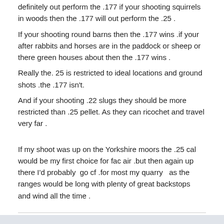definitely out perform the .177 if your shooting squirrels in woods then the .177 will out perform the .25 .
If your shooting round barns then the .177 wins .if your after rabbits and horses are in the paddock or sheep or there green houses about then the .177 wins .
Really the. 25 is restricted to ideal locations and ground shots .the .177 isn't.
And if your shooting .22 slugs they should be more restricted than .25 pellet. As they can ricochet and travel very far .
If my shoot was up on the Yorkshire moors the .25 cal would be my first choice for fac air .but then again up there I'd probably  go cf .for most my quarry  as the ranges would be long with plenty of great backstops  and wind all the time .